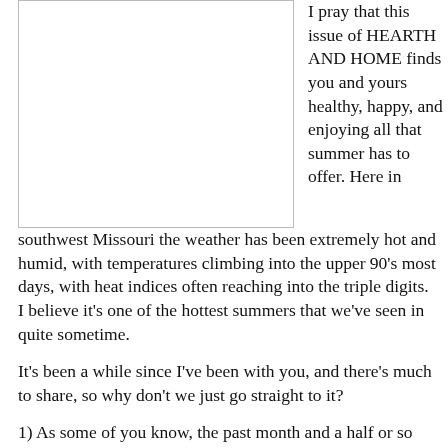[Figure (photo): A rectangular image placeholder with a light border, positioned in the upper left of the page.]
I pray that this issue of HEARTH AND HOME finds you and yours healthy, happy, and enjoying all that summer has to offer. Here in southwest Missouri the weather has been extremely hot and humid, with temperatures climbing into the upper 90's most days, with heat indices often reaching into the triple digits. I believe it's one of the hottest summers that we've seen in quite sometime.
It's been a while since I've been with you, and there's much to share, so why don't we just go straight to it?
1) As some of you know, the past month and a half or so has been quite traumatic for our family. On the 29th of May our 17-month-old grandson, Silas, was injured in a mowing accident. It resulted in the loss of his left leg just above the knee. The hours, days, and weeks that have followed have had their ups and downs for all of us, but, overall, God's